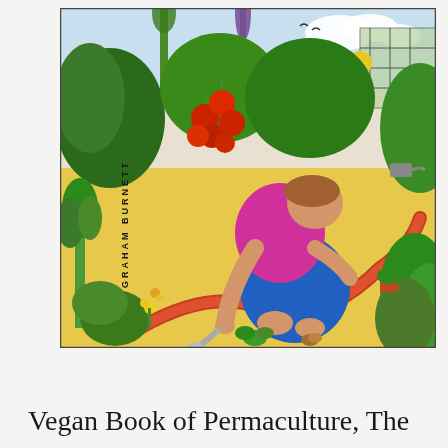[Figure (illustration): Colorful illustration of a woman in a pink top and blue jeans kneeling and gardening in a lush vegetable and flower garden. She holds a small trowel and tends to plants. The garden has red tomatoes, green leafy plants, flowers, and a brick-edged border path. Text 'GRAHAM BURNETT' appears vertically on the left side of the illustration.]
Vegan Book of Permaculture, The